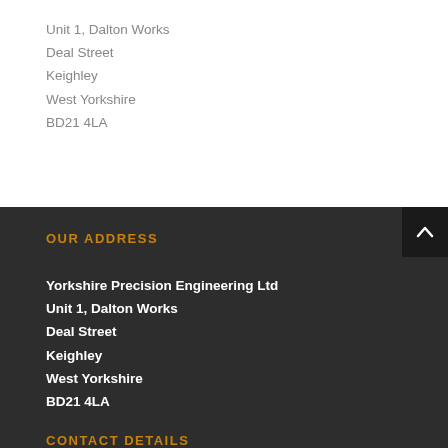Unit 1, Dalton Works
Deal Street
Keighley
West Yorkshire
BD21 4LA
OUR ADDRESS
Yorkshire Precision Engineering Ltd
Unit 1, Dalton Works
Deal Street
Keighley
West Yorkshire
BD21 4LA
CONTACT DETAILS